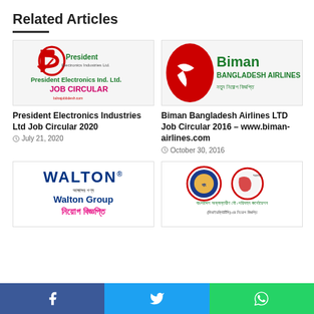Related Articles
[Figure (logo): President Electronics Industries Ltd. logo with red P icon, green company name, pink JOB CIRCULAR text]
President Electronics Industries Ltd Job Circular 2020
July 21, 2020
[Figure (logo): Biman Bangladesh Airlines logo with red oval/bird icon and green text]
Biman Bangladesh Airlines LTD Job Circular 2016 – www.biman-airlines.com
October 30, 2016
[Figure (logo): Walton Group logo with blue WALTON name and pink Bangla niyog biggapti text]
[Figure (logo): Bangladesh Inland Water Transport Corporation (BIWTC) logo with two circular emblems and Bangla text]